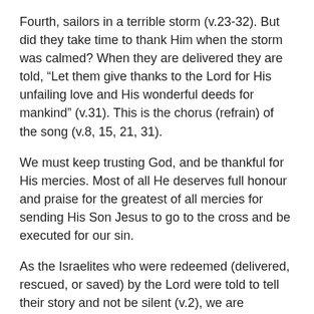Fourth, sailors in a terrible storm (v.23-32). But did they take time to thank Him when the storm was calmed? When they are delivered they are told, “Let them give thanks to the Lord for His unfailing love and His wonderful deeds for mankind” (v.31). This is the chorus (refrain) of the song (v.8, 15, 21, 31).
We must keep trusting God, and be thankful for His mercies. Most of all He deserves full honour and praise for the greatest of all mercies for sending His Son Jesus to go to the cross and be executed for our sin.
As the Israelites who were redeemed (delivered, rescued, or saved) by the Lord were told to tell their story and not be silent (v.2), we are commanded “Through Jesus, therefore, let us continually offer to God a sacrifice of praise—the fruit of lips that openly profess His name”